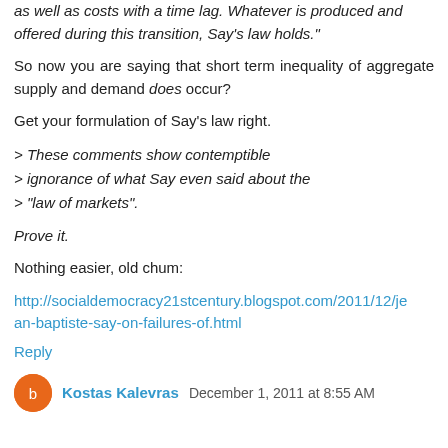as well as costs with a time lag. Whatever is produced and offered during this transition, Say's law holds."
So now you are saying that short term inequality of aggregate supply and demand does occur?
Get your formulation of Say's law right.
> These comments show contemptible ignorance of what Say even said about the "law of markets".
Prove it.
Nothing easier, old chum:
http://socialdemocracy21stcentury.blogspot.com/2011/12/jean-baptiste-say-on-failures-of.html
Reply
Kostas Kalevras December 1, 2011 at 8:55 AM